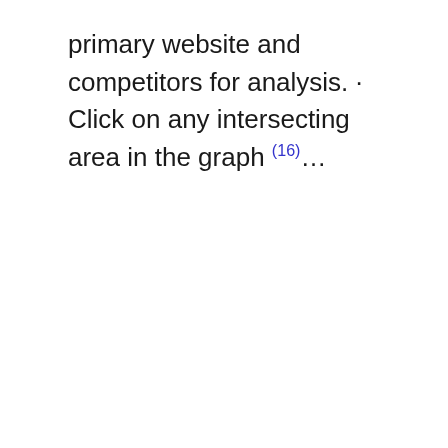primary website and competitors for analysis. · Click on any intersecting area in the graph (16)…